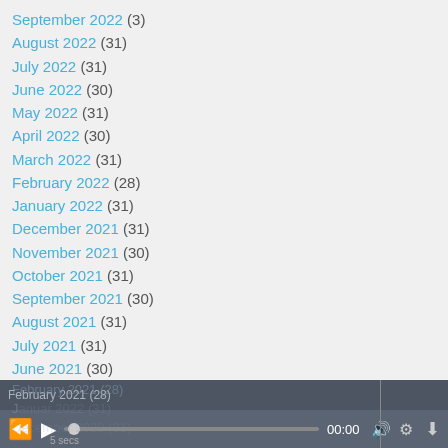September 2022 (3)
August 2022 (31)
July 2022 (31)
June 2022 (30)
May 2022 (31)
April 2022 (30)
March 2022 (31)
February 2022 (28)
January 2022 (31)
December 2021 (31)
November 2021 (30)
October 2021 (31)
September 2021 (30)
August 2021 (31)
July 2021 (31)
June 2021 (30)
May 2021 (31)
April 2021 (30)
March 2021 (31)
February 2021 (28)
January 2022 (31)
December 2020 (31)